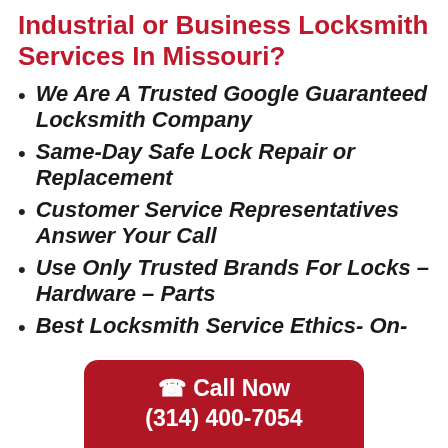Industrial or Business Locksmith Services In Missouri?
We Are A Trusted Google Guaranteed Locksmith Company
Same-Day Safe Lock Repair or Replacement
Customer Service Representatives Answer Your Call
Use Only Trusted Brands For Locks – Hardware – Parts
Best Locksmith Service Ethics- On-
Call Now (314) 400-7054